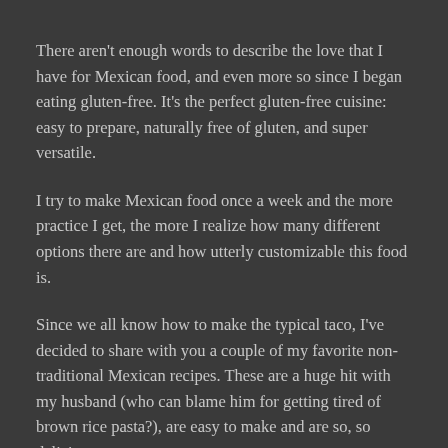There aren't enough words to describe the love that I have for Mexican food, and even more so since I began eating gluten-free. It's the perfect gluten-free cuisine: easy to prepare, naturally free of gluten, and super versatile.
I try to make Mexican food once a week and the more practice I get, the more I realize how many different options there are and how utterly customizable this food is.
Since we all know how to make the typical taco, I've decided to share with you a couple of my favorite non-traditional Mexican recipes. These are a huge hit with my husband (who can blame him for getting tired of brown rice pasta?), are easy to make and are so, so delicious.
–